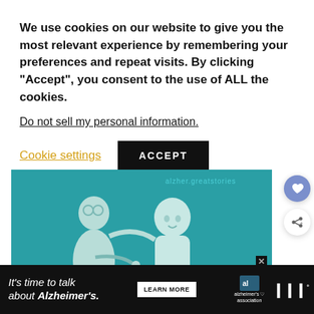We use cookies on our website to give you the most relevant experience by remembering your preferences and repeat visits. By clicking “Accept”, you consent to the use of ALL the cookies.
Do not sell my personal information.
Cookie settings
ACCEPT
[Figure (illustration): Alzheimer's Association illustrated advertisement showing two people (an older person with glasses and a younger person) on a teal background with the Alzheimer's Association logo in the bottom right]
It’s time to talk about Alzheimer’s.
LEARN MORE
alzheimer’s association